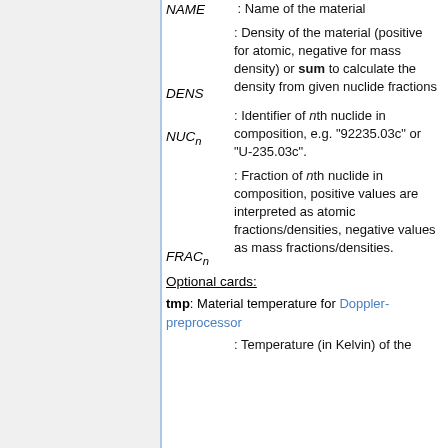NAME : Name of the material
DENS : Density of the material (positive for atomic, negative for mass density) or sum to calculate the density from given nuclide fractions
NUCn : Identifier of nth nuclide in composition, e.g. "92235.03c" or "U-235.03c".
FRACn : Fraction of nth nuclide in composition, positive values are interpreted as atomic fractions/densities, negative values as mass fractions/densities.
Optional cards:
tmp: Material temperature for Doppler-preprocessor
: Temperature (in Kelvin) of the